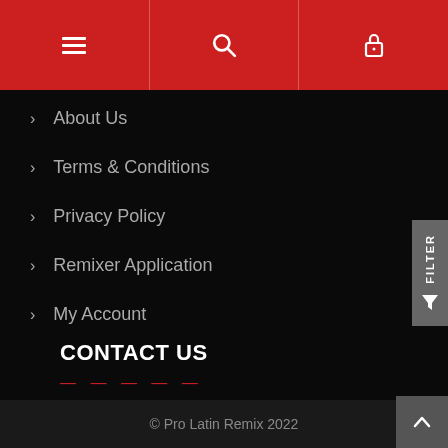[Figure (screenshot): Red navigation bar with hamburger menu, search, and lock icons]
About Us
Terms & Conditions
Privacy Policy
Remixer Application
My Account
CONTACT US
prolatinremix@gmail.com
© Pro Latin Remix 2022